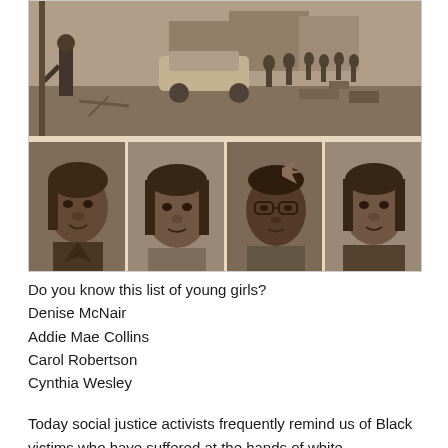[Figure (photo): Composite image: top half shows a black-and-white/sepia street scene with people, a car, and debris (aftermath of a bombing); bottom half shows four portrait photos of young African American girls arranged side by side.]
Do you know this list of young girls?
Denise McNair
Addie Mae Collins
Carol Robertson
Cynthia Wesley
Today social justice activists frequently remind us of Black victims who have suffered at the hands of white supremacists. We have